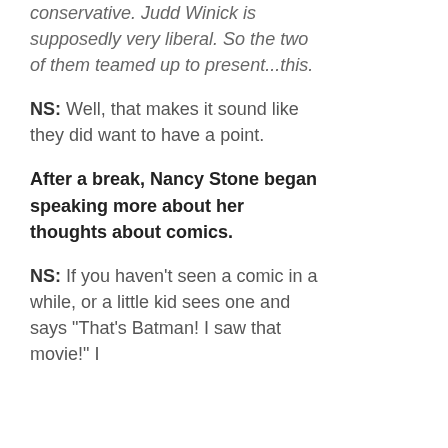conservative. Judd Winick is supposedly very liberal. So the two of them teamed up to present...this.
NS: Well, that makes it sound like they did want to have a point.
After a break, Nancy Stone began speaking more about her thoughts about comics.
NS: If you haven't seen a comic in a while, or a little kid sees one and says "That's Batman! I saw that movie!" I